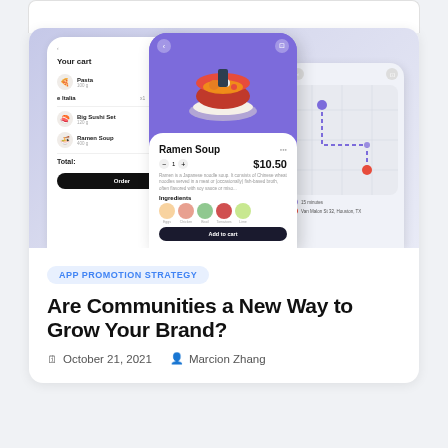[Figure (screenshot): Mobile app UI screenshots showing a food ordering cart screen, a ramen soup product detail screen with purple background, and a map/delivery screen]
APP PROMOTION STRATEGY
Are Communities a New Way to Grow Your Brand?
October 21, 2021  Marcion Zhang